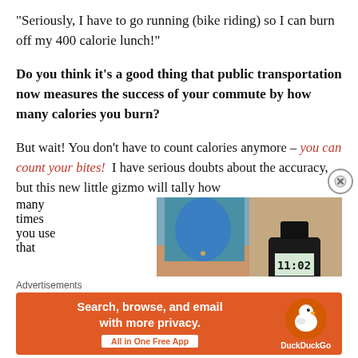“Seriously, I have to go running (bike riding) so I can burn off my 400 calorie lunch!”
Do you think it’s a good thing that public transportation now measures the success of your commute by how many calories you burn?
But wait! You don’t have to count calories anymore – you can count your bites!  I have serious doubts about the accuracy, but this new little gizmo will tally how many times you use that
[Figure (photo): Two photos side by side: left shows a woman wearing a wrist device while eating, right shows a close-up of a digital wrist counter device displaying 11:02]
Advertisements
[Figure (screenshot): DuckDuckGo advertisement banner: orange background with text 'Search, browse, and email with more privacy. All in One Free App' and DuckDuckGo duck logo on the right]